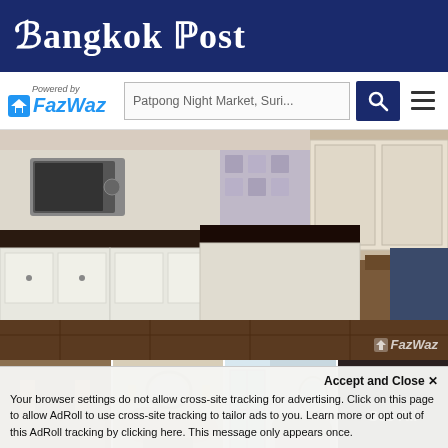Bangkok Post
[Figure (logo): FazWaz logo with 'Powered by' text above and a house icon to the left]
Patpong Night Market, Suri...
[Figure (photo): Main photo of a kitchen interior with white cabinets, dark countertop island, and microwave. FazWaz watermark in bottom right.]
[Figure (photo): Four thumbnail photos of the property interior. Last thumbnail shows 'See All' text overlay.]
2 Bedroom Condo for rent at The Rajdamri
Welcome to The Raidamri, a high-rise condominium in the Bangkok
Accept and Close ✕
Your browser settings do not allow cross-site tracking for advertising. Click on this page to allow AdRoll to use cross-site tracking to tailor ads to you. Learn more or opt out of this AdRoll tracking by clicking here. This message only appears once.